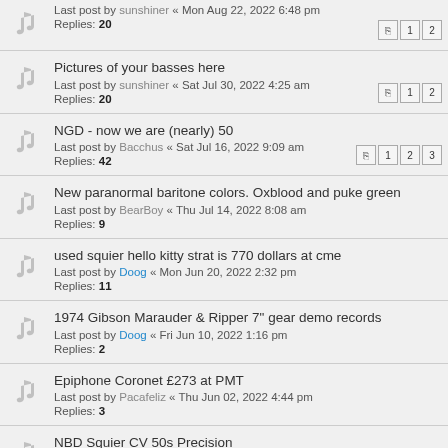Last post by sunshiner « Mon Aug 22, 2022 6:48 pm
Replies: 20
Pictures of your basses here
Last post by sunshiner « Sat Jul 30, 2022 4:25 am
Replies: 20
NGD - now we are (nearly) 50
Last post by Bacchus « Sat Jul 16, 2022 9:09 am
Replies: 42
New paranormal baritone colors. Oxblood and puke green
Last post by BearBoy « Thu Jul 14, 2022 8:08 am
Replies: 9
used squier hello kitty strat is 770 dollars at cme
Last post by Doog « Mon Jun 20, 2022 2:32 pm
Replies: 11
1974 Gibson Marauder & Ripper 7" gear demo records
Last post by Doog « Fri Jun 10, 2022 1:16 pm
Replies: 2
Epiphone Coronet £273 at PMT
Last post by Pacafeliz « Thu Jun 02, 2022 4:44 pm
Replies: 3
NBD Squier CV 50s Precision